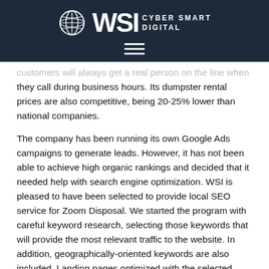WSI CYBER SMART DIGITAL
customers will always get a real person on the line when they call during business hours. Its dumpster rental prices are also competitive, being 20-25% lower than national companies.
The company has been running its own Google Ads campaigns to generate leads. However, it has not been able to achieve high organic rankings and decided that it needed help with search engine optimization. WSI is pleased to have been selected to provide local SEO service for Zoom Disposal. We started the program with careful keyword research, selecting those keywords that will provide the most relevant traffic to the website. In addition, geographically-oriented keywords are also included. Landing pages optimized with the selected keywords are then created and added to the website.